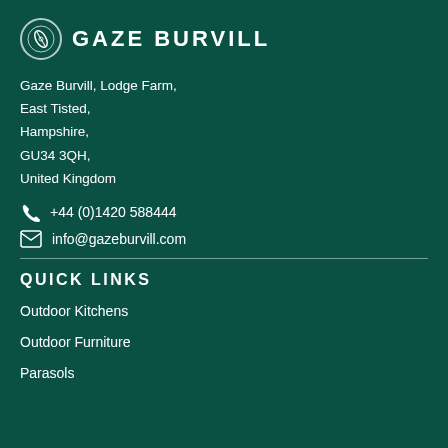[Figure (logo): Gaze Burvill circular logo with leaf/feather icon and company name in bold uppercase letters]
Gaze Burvill, Lodge Farm,
East Tisted,
Hampshire,
GU34 3QH,
United Kingdom
+44 (0)1420 588444
info@gazeburvill.com
QUICK LINKS
Outdoor Kitchens
Outdoor Furniture
Parasols